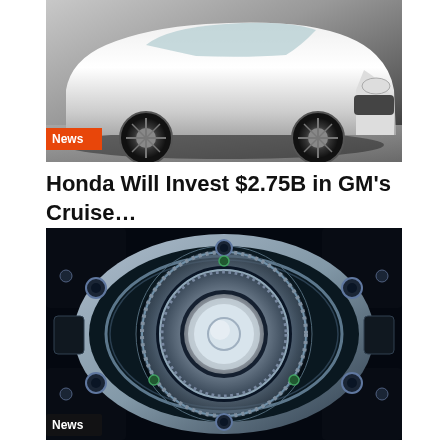[Figure (photo): Black and white photo of a white SUV/crossover vehicle from the front-side angle, showing the front bumper, wheels, and lower body on a gray surface]
Honda Will Invest $2.75B in GM's Cruise...
[Figure (photo): Close-up macro photo of a rotary engine internal rotor mechanism, showing the triangular rotor, eccentric shaft, gear teeth, and housing in dark metallic blues and silvers with black background]